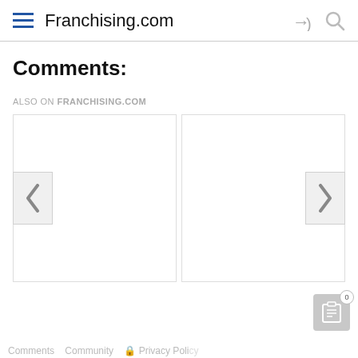Franchising.com
Comments:
ALSO ON FRANCHISING.COM
[Figure (screenshot): Carousel widget with two empty card placeholders, left arrow (‹) and right arrow (›) navigation buttons]
Comments  Community  Privacy Policy